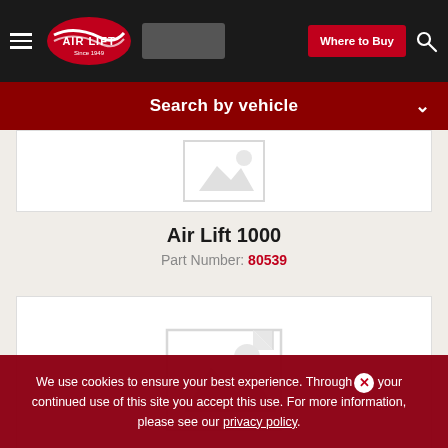Air Lift - Where to Buy
Search by vehicle
[Figure (photo): Product placeholder image (no image available) for Air Lift 1000]
Air Lift 1000
Part Number: 80539
[Figure (photo): Product placeholder image (no image available) for second product]
Part Number: 80702
We use cookies to ensure your best experience. Through your continued use of this site you accept this use. For more information, please see our privacy policy.